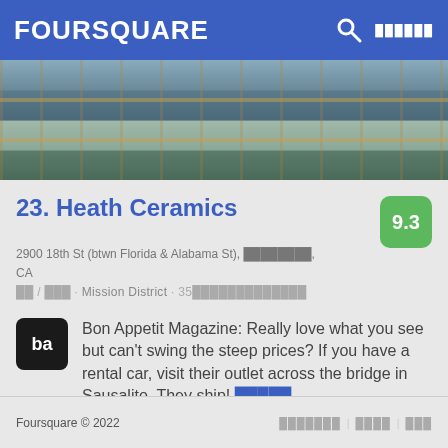FOURSQUARE
[Figure (photo): Interior shelf display of dark ceramic pottery pieces at Heath Ceramics store]
23. Heath Ceramics
2900 18th St (btwn Florida & Alabama St), ████████, CA
██ / ███ · Mission District · 35█████████████
Bon Appetit Magazine: Really love what you see but can't swing the steep prices? If you have a rental car, visit their outlet across the bridge in Sausalito. They ship! █████
Foursquare © 2022